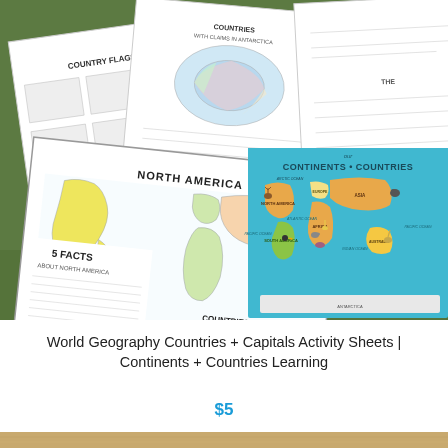[Figure (photo): Product photo showing multiple educational geography worksheet pages fanned out on green grass, including a North America map worksheet, Countries with Claims in Antarctica, Country Flags, and a colorful Continents + Countries world map poster with animals.]
World Geography Countries + Capitals Activity Sheets | Continents + Countries Learning
$5